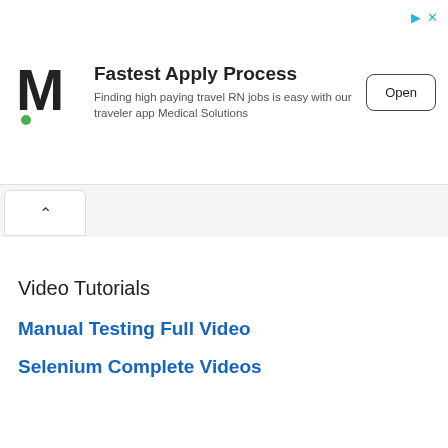[Figure (screenshot): Advertisement banner for Medical Solutions with M logo, 'Fastest Apply Process' heading, subtitle about travel RN jobs, and Open button]
[Figure (screenshot): Browser back/up navigation tab button (chevron up icon)]
Video Tutorials
Manual Testing Full Video
Selenium Complete Videos